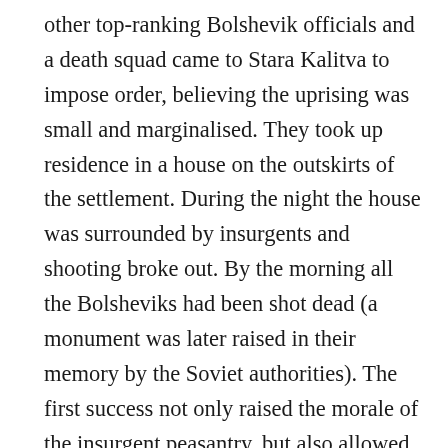other top-ranking Bolshevik officials and a death squad came to Stara Kalitva to impose order, believing the uprising was small and marginalised. They took up residence in a house on the outskirts of the settlement. During the night the house was surrounded by insurgents and shooting broke out. By the morning all the Bolsheviks had been shot dead (a monument was later raised in their memory by the Soviet authorities). The first success not only raised the morale of the insurgent peasantry, but also allowed Kolesnikov to broaden the area of the uprising. Insurgency spread to the villages and settlements of Bogucharsky and Pavlovsky counties. Under the motto "against hunger and looting", the Kolesnikovists wherever they appeared, dispersed the requisition squads and gave the bread back to the peasants. It should be noted that local soviets were not destroyed, but taken over by the